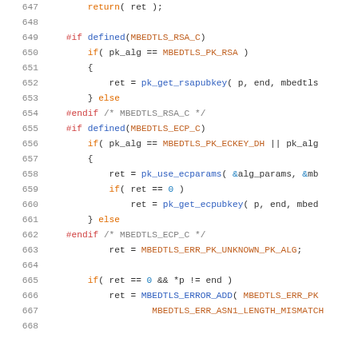[Figure (screenshot): Source code snippet in C showing lines 647-668 of a file, with syntax highlighting. Lines include preprocessor directives (#if defined, #endif), conditional logic for RSA and ECP key handling, and error code assignments.]